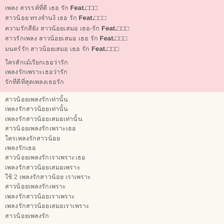Thai script text lines with Feat.xxx entries (pink section)
Thai script text lines (cream section)